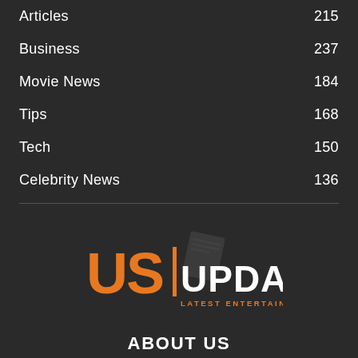Articles  215
Business  237
Movie News  184
Tips  168
Tech  150
Celebrity News  136
[Figure (logo): US UPDATES - Latest Entertainment News logo with orange US letters and black UPDATES text]
ABOUT US